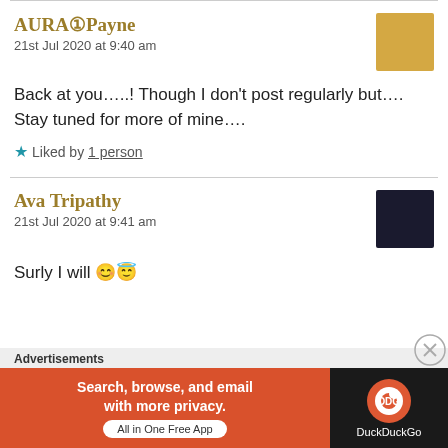AURAⓕPayne
21st Jul 2020 at 9:40 am
Back at you…..! Though I don't post regularly but….
Stay tuned for more of mine….
★ Liked by 1 person
Ava Tripathy
21st Jul 2020 at 9:41 am
Surly I will 😊😇
Advertisements
Search, browse, and email with more privacy. All in One Free App
[Figure (logo): DuckDuckGo logo and branding on dark background]